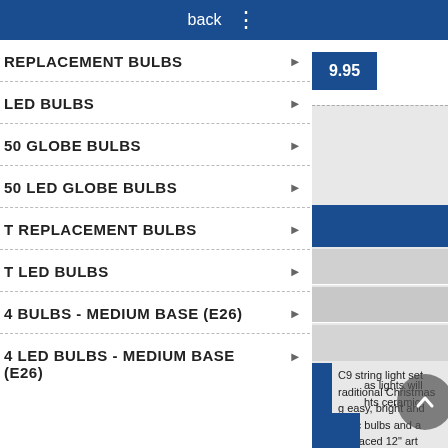back  ⋮
REPLACEMENT BULBS
LED BULBS
50 GLOBE BULBS
50 LED GLOBE BULBS
T REPLACEMENT BULBS
T LED BULBS
4 BULBS - MEDIUM BASE (E26)
4 LED BULBS - MEDIUM BASE (E26)
C9 string light set raditional Christmas g easy, bright and amic bulbs and a e spaced 12" art as lights will hts ceramic
[Figure (screenshot): Price badge showing 9.95 in a blue rectangle at top right]